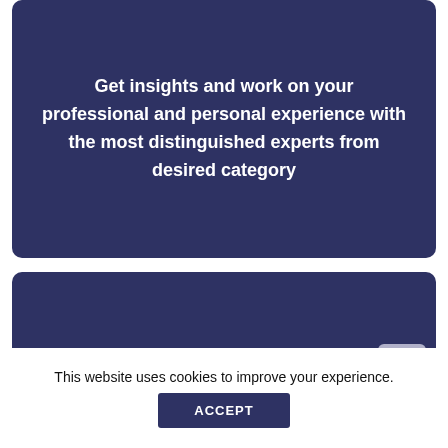Get insights and work on your professional and personal experience with the most distinguished experts from desired category
[Figure (other): Dark navy blue card panel (bottom section) with a scroll-up arrow button in the bottom-right corner]
This website uses cookies to improve your experience.
ACCEPT